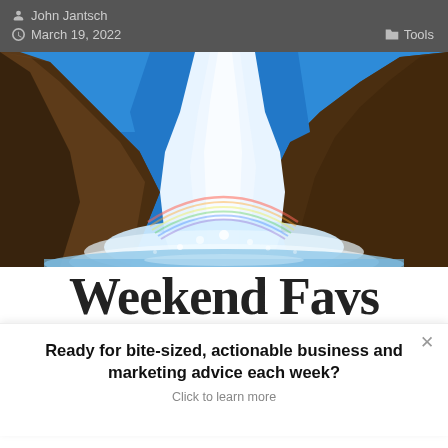John Jantsch | March 19, 2022 | Tools
[Figure (photo): A scenic waterfall cascading between rocky cliffs with a rainbow visible, against a blue sky. White water splashes at the base.]
Weekend Favs
Ready for bite-sized, actionable business and marketing advice each week? Click to learn more